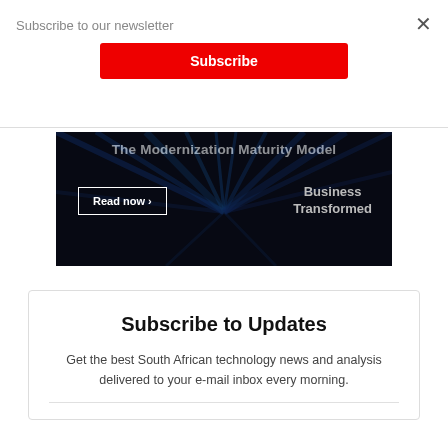Subscribe to our newsletter
Subscribe
×
[Figure (illustration): Dark advertisement banner with blue light rays radiating outward on black background. Title text: 'The Modernization Maturity Model'. 'Read now ›' button on left, 'Business Transformed' text on right.]
Subscribe to Updates
Get the best South African technology news and analysis delivered to your e-mail inbox every morning.